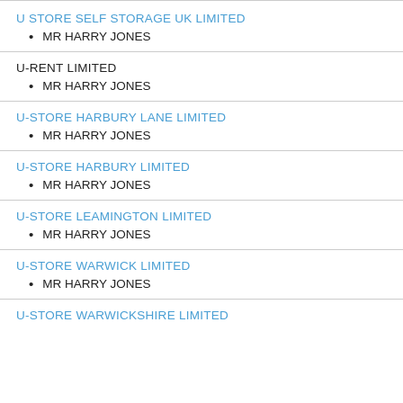U STORE SELF STORAGE UK LIMITED
MR HARRY JONES
U-RENT LIMITED
MR HARRY JONES
U-STORE HARBURY LANE LIMITED
MR HARRY JONES
U-STORE HARBURY LIMITED
MR HARRY JONES
U-STORE LEAMINGTON LIMITED
MR HARRY JONES
U-STORE WARWICK LIMITED
MR HARRY JONES
U-STORE WARWICKSHIRE LIMITED